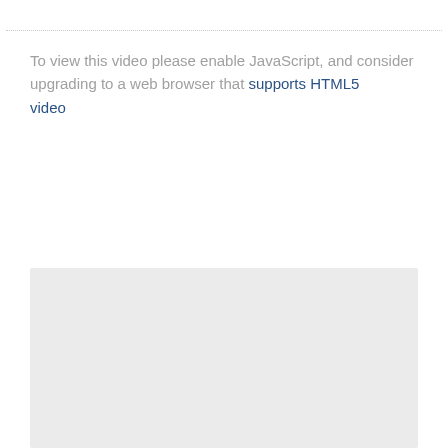To view this video please enable JavaScript, and consider upgrading to a web browser that supports HTML5 video
[Figure (other): Gray placeholder box representing a video player area]